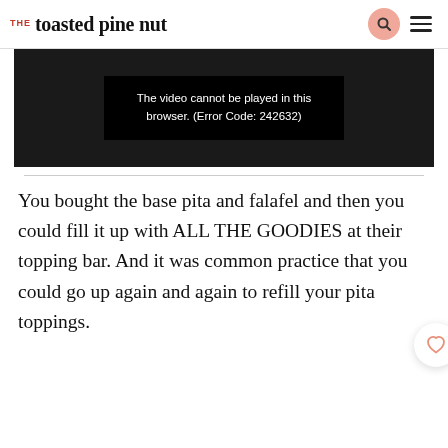THE toasted pine nut
[Figure (screenshot): Video player showing error message: 'The video cannot be played in this browser. (Error Code: 242632)']
You bought the base pita and falafel and then you could fill it up with ALL THE GOODIES at their topping bar. And it was common practice that you could go up again and again to refill your pita toppings.